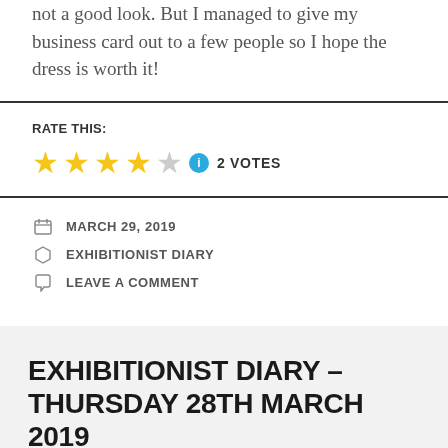not a good look. But I managed to give my business card out to a few people so I hope the dress is worth it!
RATE THIS:
4 stars out of 5 — 2 VOTES
MARCH 29, 2019
EXHIBITIONIST DIARY
LEAVE A COMMENT
EXHIBITIONIST DIARY – THURSDAY 28TH MARCH 2019